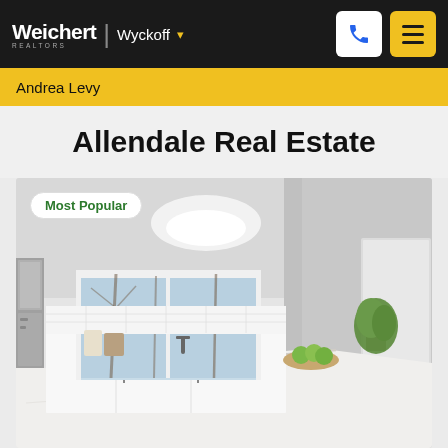Weichert | Wyckoff
Andrea Levy
Allendale Real Estate
[Figure (photo): Interior photo of a modern white kitchen with marble island countertop, stainless steel appliances, white subway tile backsplash, large window with winter tree view, and a small potted tree on the counter. A 'Most Popular' badge is overlaid in the top-left corner.]